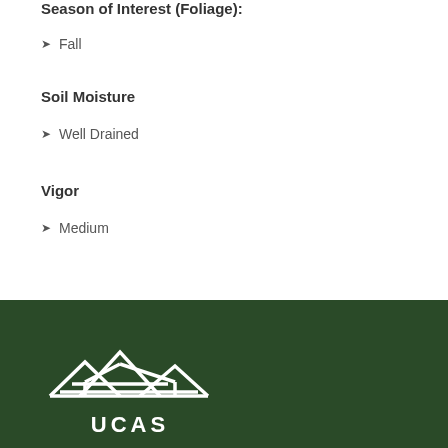Season of Interest (Foliage):
Fall
Soil Moisture
Well Drained
Vigor
Medium
[Figure (logo): UCAS organization logo in white on dark green background, showing a house/roof outline with mountains and the letters UCAS]